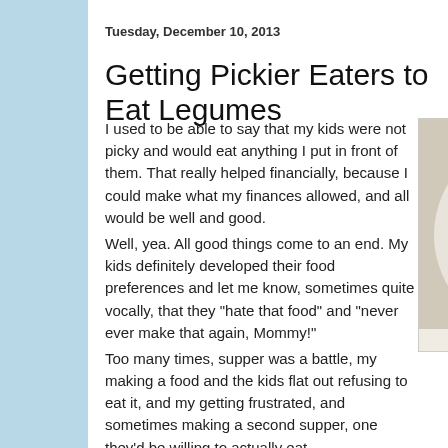Tuesday, December 10, 2013
Getting Pickier Eaters to Eat Legumes
I used to be able to say that my kids were not picky and would eat anything I put in front of them. That really helped financially, because I could make what my finances allowed, and all would be well and good.
Well, yea. All good things come to an end. My kids definitely developed their food preferences and let me know, sometimes quite vocally, that they "hate that food" and "never ever make that again, Mommy!"
Too many times, supper was a battle, my making a food and the kids flat out refusing to eat it, and my getting frustrated, and sometimes making a second supper, one they'd be willing to actually eat...
Endless frustration.
[Figure (photo): A plate of pasta or noodles with a meat and tomato sauce, photographed from above on a white plate.]